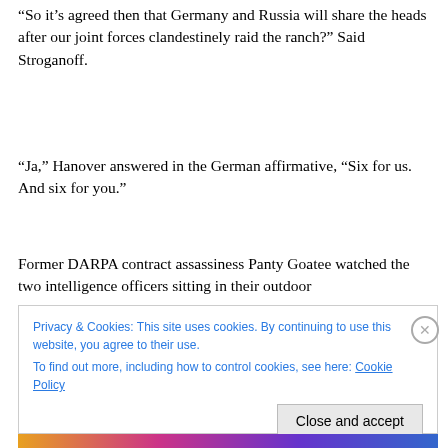“So it’s agreed then that Germany and Russia will share the heads after our joint forces clandestinely raid the ranch?” Said Stroganoff.
“Ja,” Hanover answered in the German affirmative, “Six for us. And six for you.”
Former DARPA contract assassiness Panty Goatee watched the two intelligence officers sitting in their outdoor
Privacy & Cookies: This site uses cookies. By continuing to use this website, you agree to their use.
To find out more, including how to control cookies, see here: Cookie Policy
Close and accept